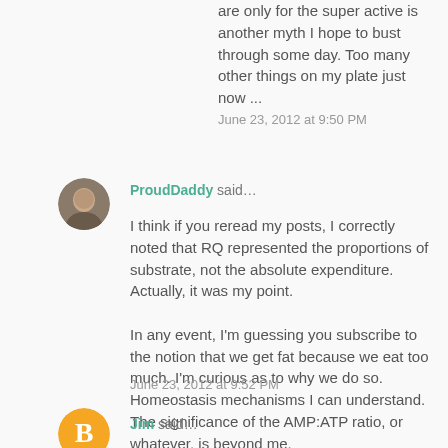are only for the super active is another myth I hope to bust through some day. Too many other things on my plate just now ...
June 23, 2012 at 9:50 PM
[Figure (photo): Circular avatar photo of ProudDaddy user]
ProudDaddy said...
I think if you reread my posts, I correctly noted that RQ represented the proportions of substrate, not the absolute expenditure. Actually, it was my point.

In any event, I'm guessing you subscribe to the notion that we get fat because we eat too much. I'm curious as to why we do so. Homeostasis mechanisms I can understand. The significance of the AMP:ATP ratio, or whatever, is beyond me.
June 23, 2012 at 9:52 PM
[Figure (logo): Blogger 'B' orange circle avatar icon for Jim]
Jim said...